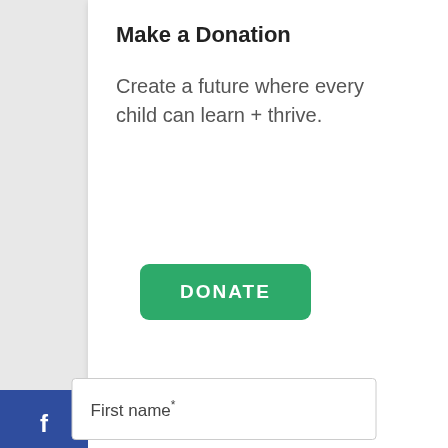Make a Donation
Create a future where every child can learn + thrive.
[Figure (other): Green DONATE button]
[Figure (other): Social media sidebar with Facebook, Twitter, LinkedIn buttons]
Get email updates from Healthy Schools Campaign
First name*